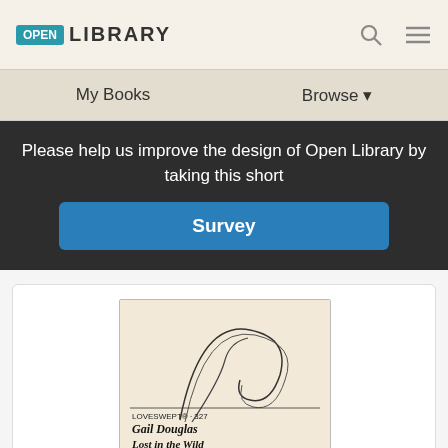[Figure (logo): Open Library logo and navigation bar with search and menu icons]
My Books    Browse
Please help us improve the design of Open Library by taking this short Survey
[Figure (illustration): Book cover for 'Lost in the Wild' by Gail Douglas, LOVESWEPT #327, showing a curved abstract line drawing on a beige background]